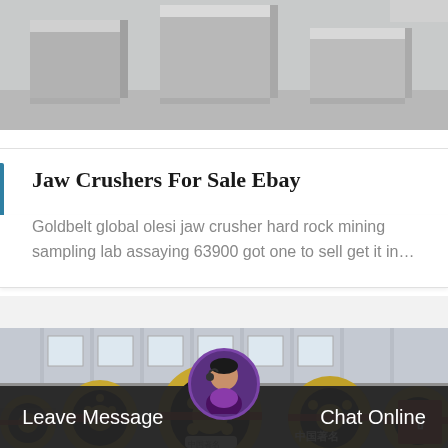[Figure (photo): Gray concrete or stone block shapes on a light gray background, top portion of page]
Jaw Crushers For Sale Ebay
Goldbelt global olesi jaw crusher hard rock mining sampling lab assaying 63900 got one to sell get it in…
[Figure (photo): Industrial factory scene with large cylindrical crusher wheels/drums with gold and black coloring, Chinese text '中国著名' visible, factory building in background]
Leave Message
Chat Online